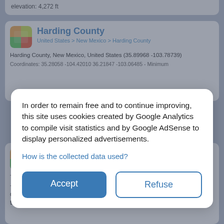elevation: 4,272 ft
Harding County
United States > New Mexico > Harding County
Harding County, New Mexico, United States (35.89968 -103.78739)
Coordinates: 35.28058 -104.42010 36.21847 -103.06485 - Minimum
In order to remain free and to continue improving, this site uses cookies created by Google Analytics to compile visit statistics and by Google AdSense to display personalized advertisements.
How is the collected data used?
Accept
Refuse
Timberon
United States > New Mexico
Timberon, Otero County, New Mexico, 88350, United States (32.63846 -105.70685)
Coordinates: 32.59715 -105.76047 32.67977 -105.63984 - Minimum elevation: 5,383 ft - Maximum elevation: 9,079 ft - Average elevation: